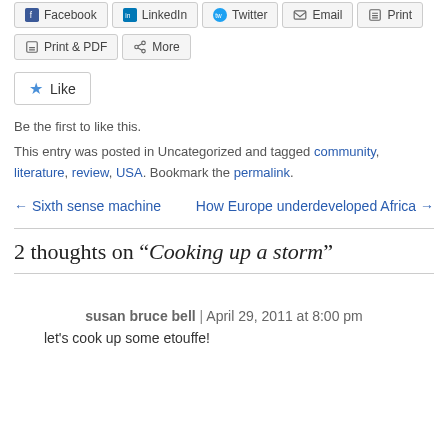[Figure (other): Social share buttons row 1: Facebook, LinkedIn, Twitter, Email, Print]
[Figure (other): Social share buttons row 2: Print & PDF, More]
[Figure (other): Like button widget]
Be the first to like this.
This entry was posted in Uncategorized and tagged community, literature, review, USA. Bookmark the permalink.
← Sixth sense machine
How Europe underdeveloped Africa →
2 thoughts on "Cooking up a storm"
susan bruce bell | April 29, 2011 at 8:00 pm
let's cook up some etouffe!